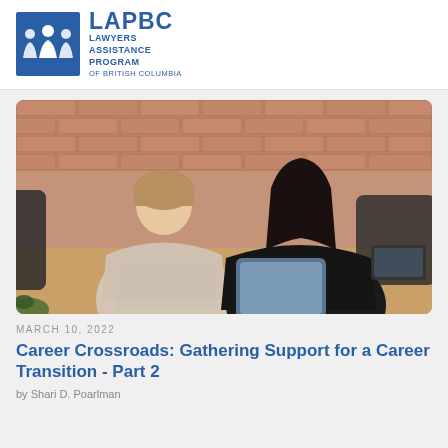[Figure (logo): LAPBC Lawyers Assistance Program of British Columbia logo — blue square with silhouette figures on the left, LAPBC text and full name on the right in blue]
[Figure (photo): Two women sitting at a wooden table in an office with exposed brick wall, appearing to have a professional meeting. One has short blonde hair and a patterned blouse; the other has long dark hair and a dark blazer, holding a tablet.]
MARCH 10, 2022
Career Crossroads: Gathering Support for a Career Transition - Part 2
by Shari D. Poarlman